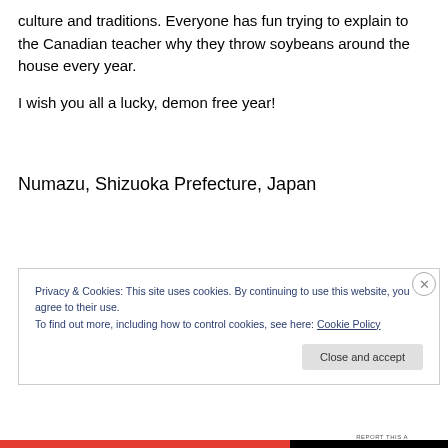culture and traditions. Everyone has fun trying to explain to the Canadian teacher why they throw soybeans around the house every year.
I wish you all a lucky, demon free year!
Numazu, Shizuoka Prefecture, Japan
Privacy & Cookies: This site uses cookies. By continuing to use this website, you agree to their use.
To find out more, including how to control cookies, see here: Cookie Policy
Close and accept